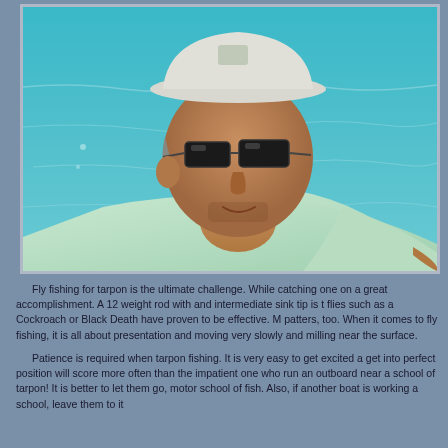[Figure (photo): A man wearing a white cap and dark sunglasses, dressed in a light green shirt, photographed outdoors near turquoise water. He appears to be on a boat, looking upward.]
Fly fishing for tarpon is the ultimate challenge. While catching one on a great accomplishment. A 12 weight rod with and intermediate sink tip is t flies such as a Cockroach or Black Death have proven to be effective. M patters, too. When it comes to fly fishing, it is all about presentation and moving very slowly and milling near the surface.
Patience is required when tarpon fishing. It is very easy to get excited a get into perfect position will score more often than the impatient one who run an outboard near a school of tarpon! It is better to let them go, motor school of fish. Also, if another boat is working a school, leave them to it